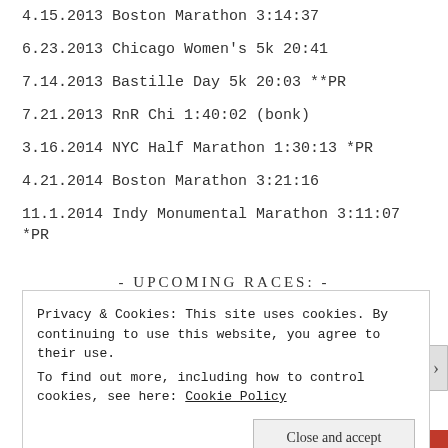4.15.2013 Boston Marathon 3:14:37
6.23.2013 Chicago Women's 5k 20:41
7.14.2013 Bastille Day 5k 20:03 **PR
7.21.2013 RnR Chi 1:40:02 (bonk)
3.16.2014 NYC Half Marathon 1:30:13 *PR
4.21.2014 Boston Marathon 3:21:16
11.1.2014 Indy Monumental Marathon 3:11:07 *PR
- UPCOMING RACES: -
Working on my race calendar post-stress fracture!
- FOLLOW ME VIA EMAIL! -
Privacy & Cookies: This site uses cookies. By continuing to use this website, you agree to their use.
To find out more, including how to control cookies, see here: Cookie Policy
Close and accept